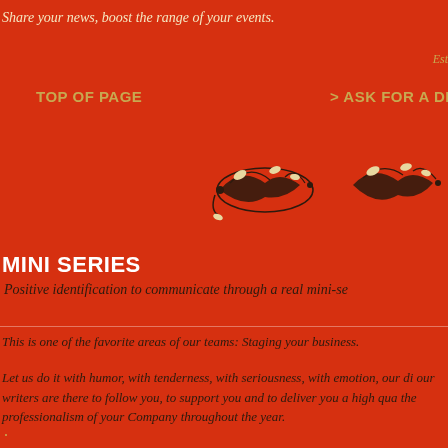Share your news, boost the range of your events.
Est
TOP OF PAGE
> ASK FOR A DE
[Figure (illustration): Two decorative floral/vine ornaments in dark brown and cream/gold on red background]
MINI SERIES
Positive identification to communicate through a real mini-se
This is one of the favorite areas of our teams: Staging your business.
Let us do it with humor, with tenderness, with seriousness, with emotion, our di our writers are there to follow you, to support you and to deliver you a high qua the professionalism of your Company throughout the year.